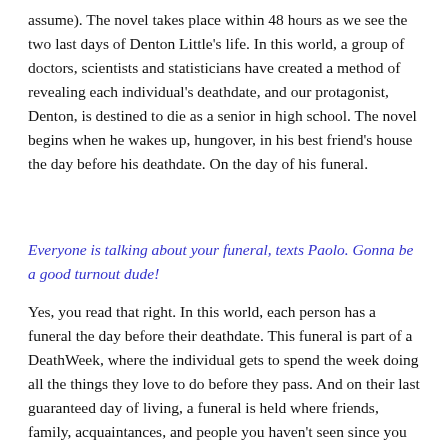assume). The novel takes place within 48 hours as we see the two last days of Denton Little's life. In this world, a group of doctors, scientists and statisticians have created a method of revealing each individual's deathdate, and our protagonist, Denton, is destined to die as a senior in high school. The novel begins when he wakes up, hungover, in his best friend's house the day before his deathdate. On the day of his funeral.
Everyone is talking about your funeral, texts Paolo. Gonna be a good turnout dude!
Yes, you read that right. In this world, each person has a funeral the day before their deathdate. This funeral is part of a DeathWeek, where the individual gets to spend the week doing all the things they love to do before they pass. And on their last guaranteed day of living, a funeral is held where friends, family, acquaintances, and people you haven't seen since you were a child attend to celebrate your life. The individual themselves are present at the